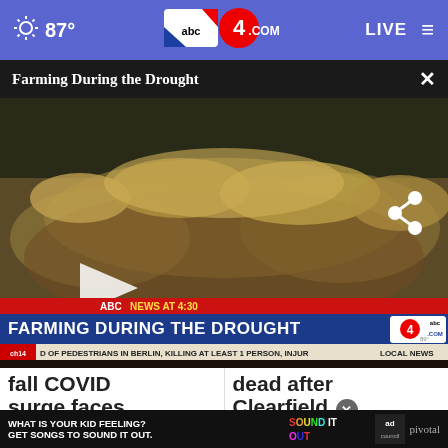☀ 87° abc4.com LIVE ≡
Farming During the Drought
[Figure (screenshot): Video thumbnail showing dry wheat/grass field with play button overlay and ABC4 lower-third graphic reading 'FARMING DURING THE DROUGHT' and ticker 'D OF PEDESTRIANS IN BERLIN, KILLING AT LEAST 1 PERSON, INJUR']
fall COVID surge faces upl
dead after Clearfield ×
[Figure (other): Ad banner: WHAT IS YOUR KID FEELING? GET SONGS TO SOUND IT OUT. Sound It Out / ad council / pivotal]